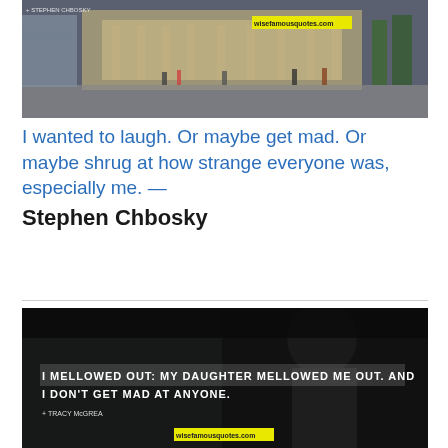[Figure (photo): Street scene photo showing a city square with a grand building facade, pedestrians crossing the street. A yellow banner overlay reads 'wisefamousquotes.com' and a small attribution text in top-left.]
I wanted to laugh. Or maybe get mad. Or maybe shrug at how strange everyone was, especially me. — Stephen Chbosky
[Figure (photo): Dark image of a person with text overlay reading: 'I MELLOWED OUT: MY DAUGHTER MELLOWED ME OUT. AND I DON'T GET MAD AT ANYONE.' with attribution and wisefamousquotes.com banner at bottom.]